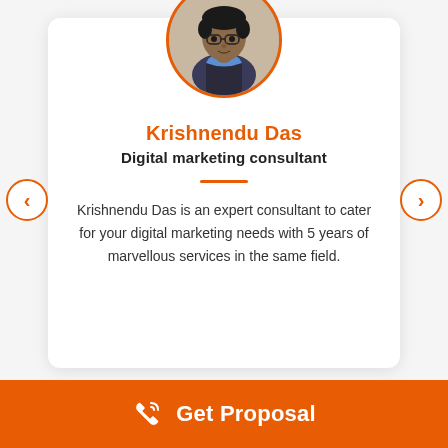[Figure (photo): Circular profile photo of Krishnendu Das with orange border, showing a man with glasses wearing a blue shirt and dark vest]
Krishnendu Das
Digital marketing consultant
Krishnendu Das is an expert consultant to cater for your digital marketing needs with 5 years of marvellous services in the same field.
Get Proposal